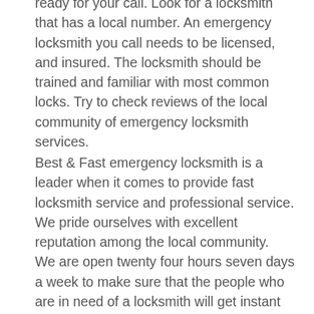ready for your call. Look for a locksmith that has a local number. An emergency locksmith you call needs to be licensed,  and insured. The locksmith should be trained and familiar with most common locks. Try to check reviews of the local community of emergency locksmith services.
Best & Fast emergency locksmith is a leader when it comes to provide fast locksmith service and professional service. We pride ourselves with excellent reputation among the local community.  We are open twenty four hours seven days a week to make sure that the people who are in need of a locksmith will get instant response at any place they are. Best & Fast trained certeous locksmiths are friendly and will be happy to assist you with any lock issue you might have. Call today Best & Fast Emergency locksmith. We are ready for your call